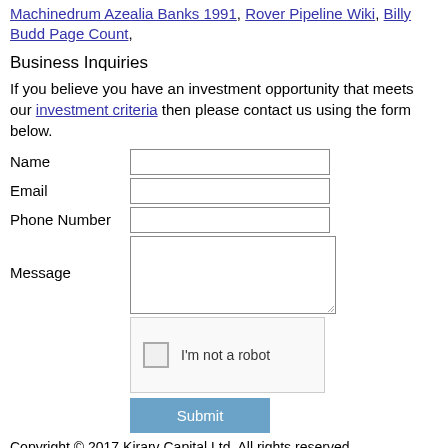Machinedrum Azealia Banks 1991, Rover Pipeline Wiki, Billy Budd Page Count,
Business Inquiries
If you believe you have an investment opportunity that meets our investment criteria then please contact us using the form below.
Name [input field]
Email [input field]
Phone Number [input field]
Message [textarea]
I'm not a robot [captcha]
Submit
Copyright © 2017 Kirarv Capital Ltd. All rights reserved.